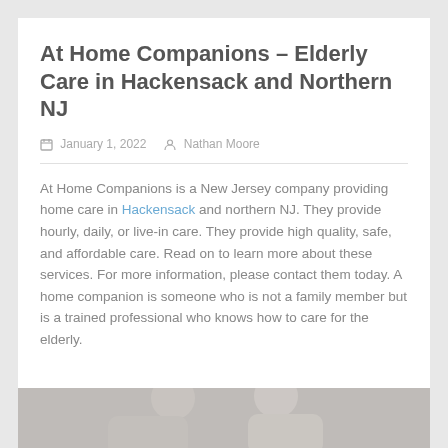At Home Companions – Elderly Care in Hackensack and Northern NJ
January 1, 2022   Nathan Moore
At Home Companions is a New Jersey company providing home care in Hackensack and northern NJ. They provide hourly, daily, or live-in care. They provide high quality, safe, and affordable care. Read on to learn more about these services. For more information, please contact them today. A home companion is someone who is not a family member but is a trained professional who knows how to care for the elderly.
[Figure (photo): Photo of two women (caregiver and elderly person) at the bottom of the page, partially visible]